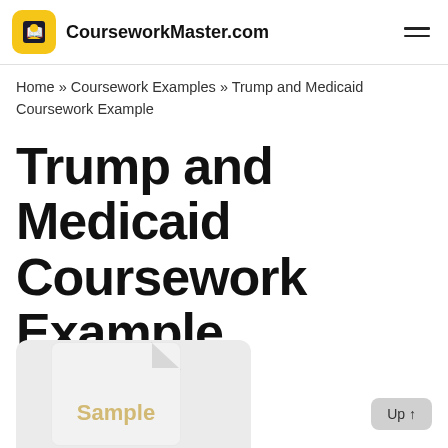CourseworkMaster.com
Home » Coursework Examples » Trump and Medicaid Coursework Example
Trump and Medicaid Coursework Example
★★★★★
[Figure (illustration): Document preview thumbnail with folded corner showing 'Sample' watermark text in gold color, on a light gray background]